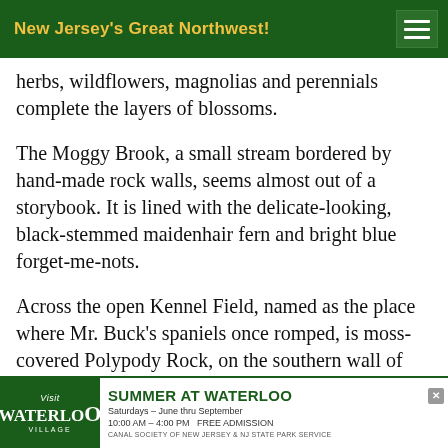New Jersey's Great Northwest!
herbs, wildflowers, magnolias and perennials complete the layers of blossoms.
The Moggy Brook, a small stream bordered by hand-made rock walls, seems almost out of a storybook. It is lined with the delicate-looking, black-stemmed maidenhair fern and bright blue forget-me-nots.
Across the open Kennel Field, named as the place where Mr. Buck's spaniels once romped, is moss-covered Polypody Rock, on the southern wall of the valley. Additional rock was brought in to create terraced rock gardens abutting the path that lead to Polypody Rock. Thyme azaleas, an old-time variety
[Figure (infographic): Advertisement banner for Visit Waterloo Village: Summer at Waterloo, Saturdays June thru September, 10:00 AM - 4:00 PM Free Admission, Canal Society of New Jersey & NJ State Park Service]